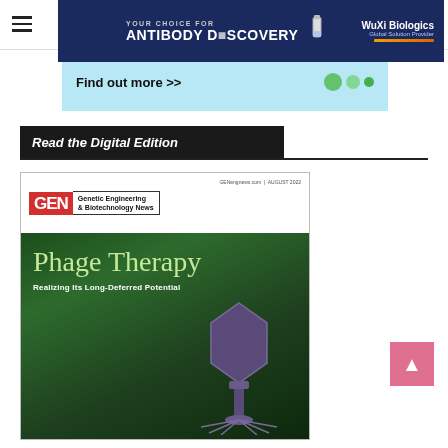GEN Genetic Engineering & Biotechnology News
[Figure (screenshot): Advertisement banner with light blue background showing 'Find out more >>' text and green molecule/cell graphics]
Read the Digital Edition
[Figure (photo): Magazine cover of GEN Genetic Engineering & Biotechnology News, August 2022 issue, featuring 'Phage Therapy: Realizing Its Long-Deferred Potential' with a bacteriophage illustration on a dark green background]
[Figure (screenshot): Advertisement banner: 'YOUR CHOICE FOR ANTIBODY DISCOVERY' with WuXi Biologics logo and vial/antibody graphics on dark blue background]